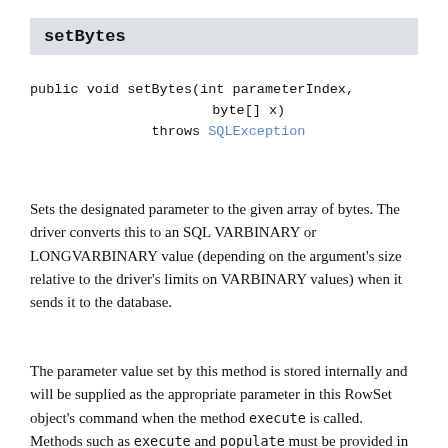setBytes
Sets the designated parameter to the given array of bytes. The driver converts this to an SQL VARBINARY or LONGVARBINARY value (depending on the argument's size relative to the driver's limits on VARBINARY values) when it sends it to the database.
The parameter value set by this method is stored internally and will be supplied as the appropriate parameter in this RowSet object's command when the method execute is called. Methods such as execute and populate must be provided in any class that extends this class and implements one or more of the standard JSR-114 RowSet interfaces.
NOTE: JdbcRowSet does not require the populate